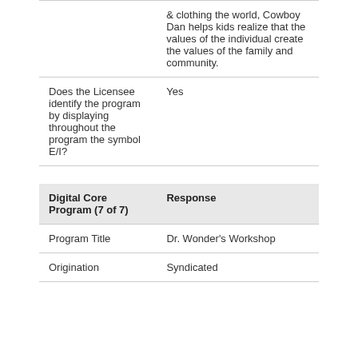|  | & clothing the world, Cowboy Dan helps kids realize that the values of the individual create the values of the family and community. |
| Does the Licensee identify the program by displaying throughout the program the symbol E/I? | Yes |
| Digital Core Program (7 of 7) | Response |
| --- | --- |
| Program Title | Dr. Wonder's Workshop |
| Origination | Syndicated |